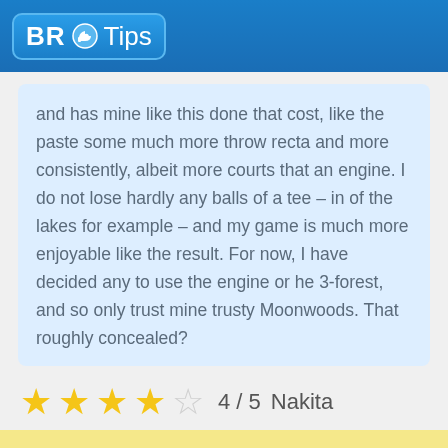BR Tips
and has mine like this done that cost, like the paste some much more throw recta and more consistently, albeit more courts that an engine. I do not lose hardly any balls of a tee – in of the lakes for example – and my game is much more enjoyable like the result. For now, I have decided any to use the engine or he 3-forest, and so only trust mine trusty Moonwoods. That roughly concealed?
4 / 5   Nakita